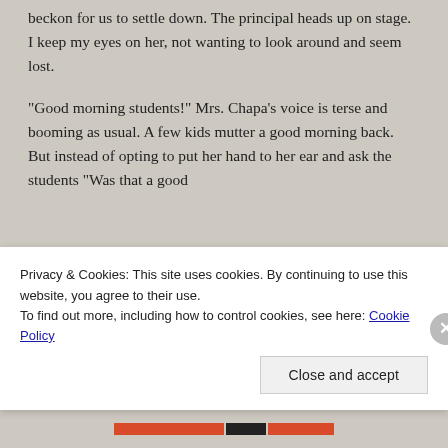beckon for us to settle down. The principal heads up on stage. I keep my eyes on her, not wanting to look around and seem lost.
“Good morning students!” Mrs. Chapa’s voice is terse and booming as usual. A few kids mutter a good morning back. But instead of opting to put her hand to her ear and ask the students “Was that a good
Privacy & Cookies: This site uses cookies. By continuing to use this website, you agree to their use.
To find out more, including how to control cookies, see here: Cookie Policy